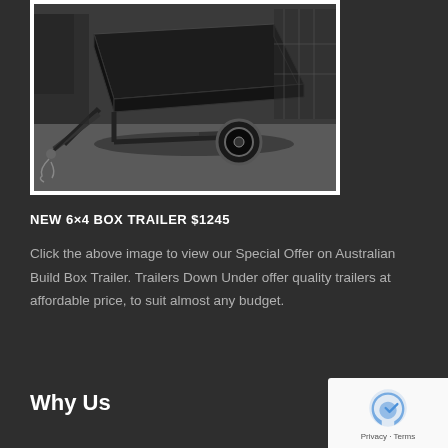[Figure (photo): Black box trailer on a concrete surface, single axle, viewed from front-left angle. Dark background with a vehicle partially visible.]
NEW 6×4 BOX TRAILER $1245
Click the above image to view our Special Offer on Australian Build Box Trailer. Trailers Down Under offer quality trailers at affordable price, to suit almost any budget.
Why Us